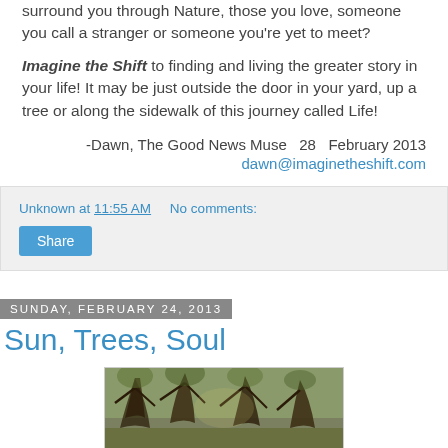surround you through Nature, those you love, someone you call a stranger or someone you're yet to meet?
Imagine the Shift to finding and living the greater story in your life!  It may be just outside the door in your yard, up a tree or along the sidewalk of this journey called Life!
-Dawn, The Good News Muse  28  February 2013
dawn@imaginetheshift.com
Unknown at 11:55 AM   No comments:
Share
Sunday, February 24, 2013
Sun, Trees, Soul
[Figure (photo): Photograph of trees in a wooded area with sunlight filtering through, showing gnarled tree trunks and green ground cover]